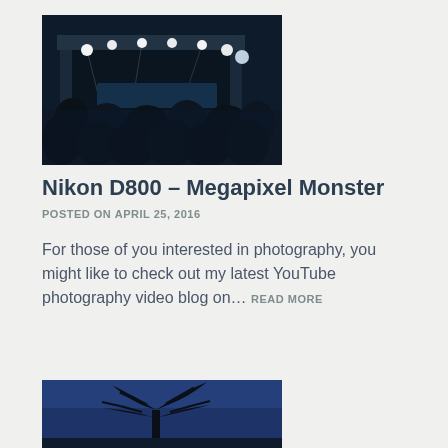[Figure (photo): Concert night photo showing a stage with bright lights and a crowd of people in the foreground. Dark sky, stage structure visible, performers on stage.]
Nikon D800 – Megapixel Monster
POSTED ON APRIL 25, 2016
For those of you interested in photography, you might like to check out my latest YouTube photography video blog on… READ MORE
[Figure (photo): A silhouette of a tree against a deep blue twilight sky. The tree has a gnarled branching structure visible against the blue background.]